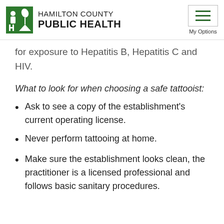HAMILTON COUNTY PUBLIC HEALTH
for exposure to Hepatitis B, Hepatitis C and HIV.
What to look for when choosing a safe tattooist:
Ask to see a copy of the establishment's current operating license.
Never perform tattooing at home.
Make sure the establishment looks clean, the practitioner is a licensed professional and follows basic sanitary procedures.